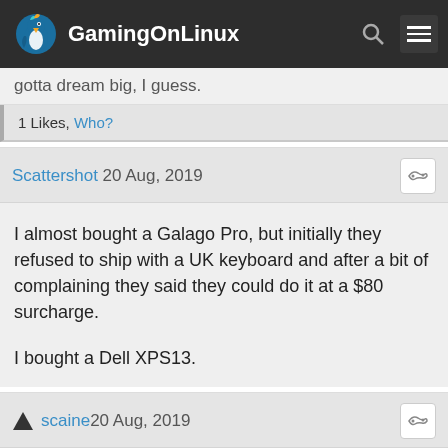GamingOnLinux
gotta dream big, I guess.
1 Likes, Who?
Scattershot 20 Aug, 2019
I almost bought a Galago Pro, but initially they refused to ship with a UK keyboard and after a bit of complaining they said they could do it at a $80 surcharge.

I bought a Dell XPS13.
scaine 20 Aug, 2019
— Quoting: Scattershot —
I almost bought a Galago Pro, but initially they refused to ship with a UK keyboard and after a bit of complaining they said they could do it at a $80